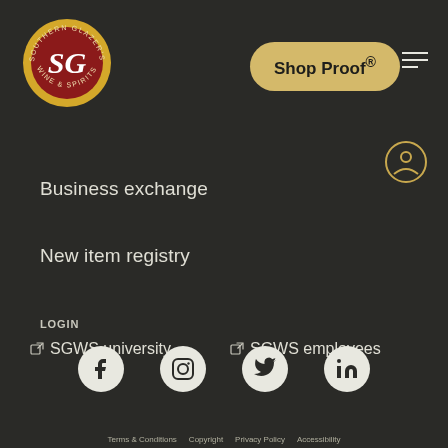[Figure (logo): Southern Glazer's Wine & Spirits circular logo — gold ring with red center and 'SG' monogram in white script]
Shop Proof®
Business exchange
New item registry
LOGIN
SGWS university
SGWS employees
[Figure (infographic): Social media icons: Facebook, Instagram, Twitter, LinkedIn — white icons in dark circular backgrounds]
Terms & Conditions   Copyright   Privacy Policy   Accessibility